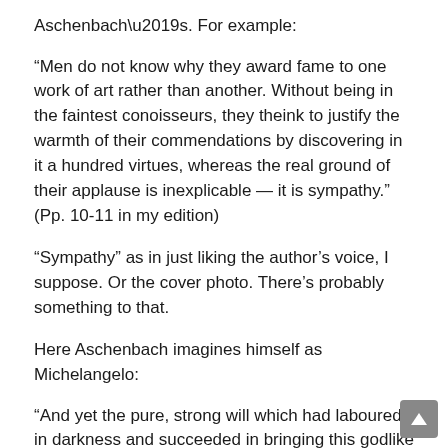Aschenbach’s. For example:
“Men do not know why they award fame to one work of art rather than another. Without being in the faintest conoisseurs, they theink to justify the warmth of their commendations by discovering in it a hundred virtues, whereas the real ground of their applause is inexplicable — it is sympathy.” (Pp. 10-11 in my edition)
“Sympathy” as in just liking the author’s voice, I suppose. Or the cover photo. There’s probably something to that.
Here Aschenbach imagines himself as Michelangelo:
“And yet the pure, strong will which had laboured in darkness and succeeded in bringing this godlike work of art [Tadzio] to the light of day — was it not known and familiar to him, the artist? Was it not the same force at work in himself when he